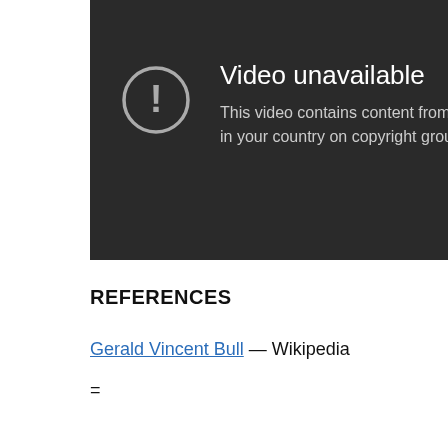[Figure (screenshot): YouTube 'Video unavailable' error screen with a circle-exclamation icon on a dark background. Text reads: 'Video unavailable — This video contains content from PE... in your country on copyright ground...']
REFERENCES
Gerald Vincent Bull — Wikipedia
=
...